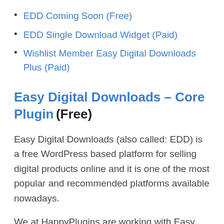EDD Coming Soon (Free)
EDD Single Download Widget (Paid)
Wishlist Member Easy Digital Downloads Plus (Paid)
Easy Digital Downloads – Core Plugin (Free)
Easy Digital Downloads (also called: EDD) is a free WordPress based platform for selling digital products online and it is one of the most popular and recommended platforms available nowadays.
We at HappyPlugins are working with Easy Digital